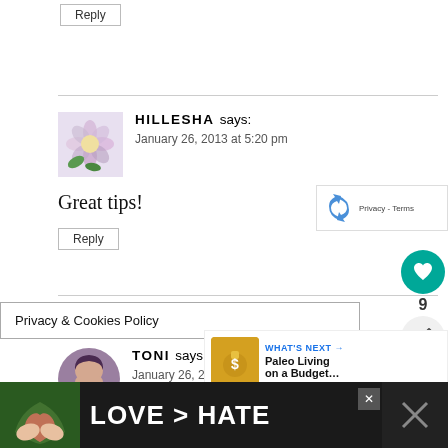Reply
HILLESHA says:
January 26, 2013 at 5:20 pm
Great tips!
Reply
Privacy & Cookies Policy
TONI says:
January 26, 2013 at 6:32 pm
[Figure (other): reCAPTCHA widget with logo and Privacy Terms text]
[Figure (other): Social sidebar with heart/like button showing count 9 and share button]
[Figure (other): What's Next panel: Paleo Living on a Budget...]
[Figure (photo): Advertisement banner: LOVE > HATE with hands forming heart shape]